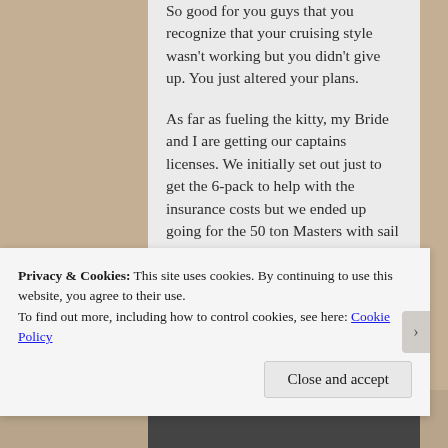So good for you guys that you recognize that your cruising style wasn't working but you didn't give up. You just altered your plans.

As far as fueling the kitty, my Bride and I are getting our captains licenses. We initially set out just to get the 6-pack to help with the insurance costs but we ended up going for the 50 ton Masters with sail...
Privacy & Cookies: This site uses cookies. By continuing to use this website, you agree to their use.
To find out more, including how to control cookies, see here: Cookie Policy